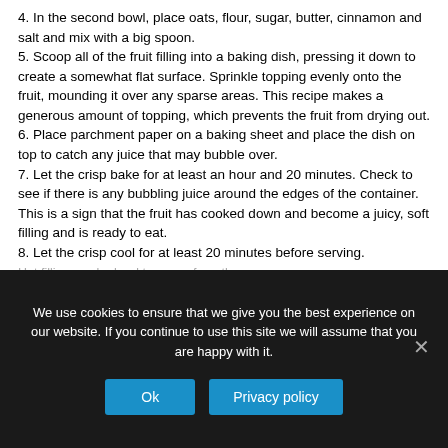4. In the second bowl, place oats, flour, sugar, butter, cinnamon and salt and mix with a big spoon.
5. Scoop all of the fruit filling into a baking dish, pressing it down to create a somewhat flat surface. Sprinkle topping evenly onto the fruit, mounding it over any sparse areas. This recipe makes a generous amount of topping, which prevents the fruit from drying out.
6. Place parchment paper on a baking sheet and place the dish on top to catch any juice that may bubble over.
7. Let the crisp bake for at least an hour and 20 minutes. Check to see if there is any bubbling juice around the edges of the container. This is a sign that the fruit has cooked down and become a juicy, soft filling and is ready to eat.
8. Let the crisp cool for at least 20 minutes before serving. Hot filling can be hard to scoop from the pan.
We use cookies to ensure that we give you the best experience on our website. If you continue to use this site we will assume that you are happy with it.